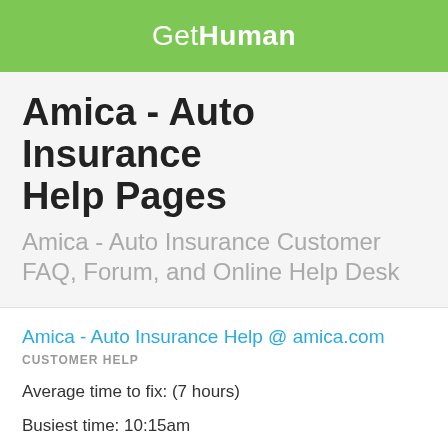GetHuman
Amica - Auto Insurance Help Pages
Amica - Auto Insurance Customer FAQ, Forum, and Online Help Desk
Amica - Auto Insurance Help @ amica.com
CUSTOMER HELP
Average time to fix: (7 hours)
Busiest time: 10:15am
Amica - Auto Insurance Phone Number